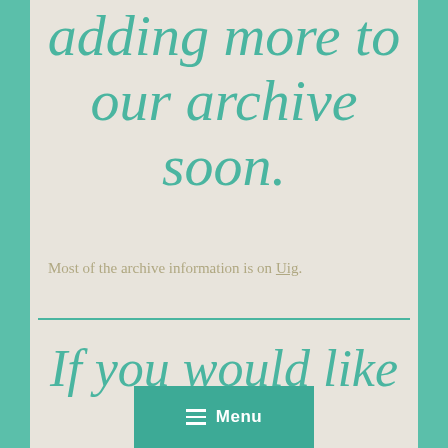adding more to our archive soon.
Most of the archive information is on Uig.
If you would like to leave a comment or